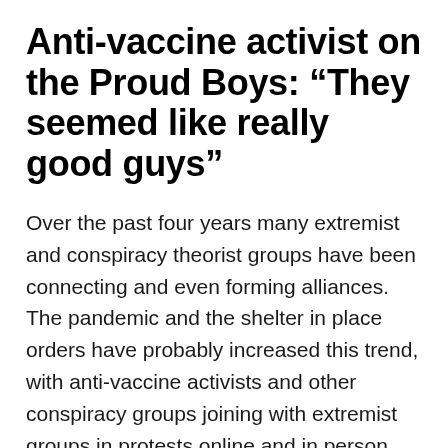Anti-vaccine activist on the Proud Boys: “They seemed like really good guys”
Over the past four years many extremist and conspiracy theorist groups have been connecting and even forming alliances. The pandemic and the shelter in place orders have probably increased this trend, with anti-vaccine activists and other conspiracy groups joining with extremist groups in protests online and in person.
This isn’t entirely new. Recall a few years back when Andrew Wakefield’s faux-documentary (propaganda film, really) Vaxxed was touring the U.S.. One spokesperson they collected on the way was a holocaust denialist (Why are Robert Kennedy, Jr. and Wakefield’s Vaxxed team